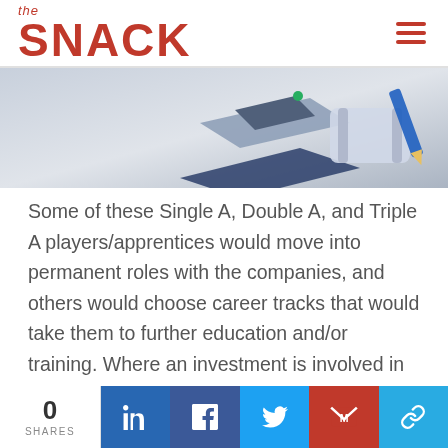the SNACK
[Figure (illustration): Partial illustration showing what appears to be a graduation cap and diploma on a light blue/grey background, cropped at the top of the page.]
Some of these Single A, Double A, and Triple A players/apprentices would move into permanent roles with the companies, and others would choose career tracks that would take them to further education and/or training. Where an investment is involved in the education or training of the respective apprentices, there would be an offer seeking a commitment of work—for
0 SHARES | LinkedIn | Facebook | Twitter | Gmail | Link